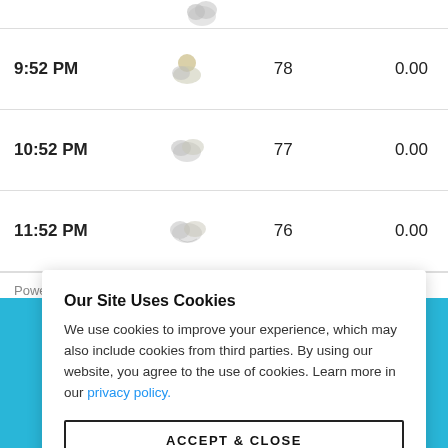| Time | Icon | Temp | Precip |
| --- | --- | --- | --- |
| 9:52 PM | [icon] | 78 | 0.00 |
| 10:52 PM | [icon] | 77 | 0.00 |
| 11:52 PM | [icon] | 76 | 0.00 |
Powered by AerisWeather
Our Site Uses Cookies
We use cookies to improve your experience, which may also include cookies from third parties. By using our website, you agree to the use of cookies. Learn more in our privacy policy.
ACCEPT & CLOSE
e to stay cool
widget through
9 days ago